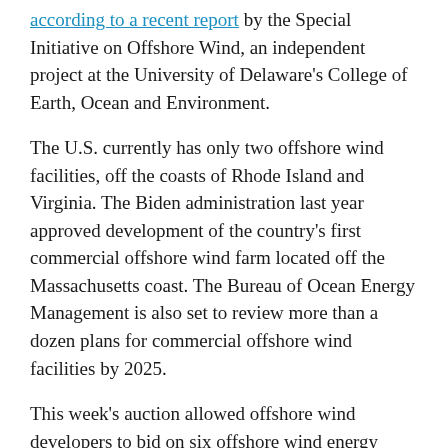according to a recent report by the Special Initiative on Offshore Wind, an independent project at the University of Delaware's College of Earth, Ocean and Environment.
The U.S. currently has only two offshore wind facilities, off the coasts of Rhode Island and Virginia. The Biden administration last year approved development of the country's first commercial offshore wind farm located off the Massachusetts coast. The Bureau of Ocean Energy Management is also set to review more than a dozen plans for commercial offshore wind facilities by 2025.
This week's auction allowed offshore wind developers to bid on six offshore wind energy lease areas. The top bidder was Bight Wind Holdings, which paid $1.1 billion for a 125,964 acre tract off the coast of Long Beach Island in New Jersey.